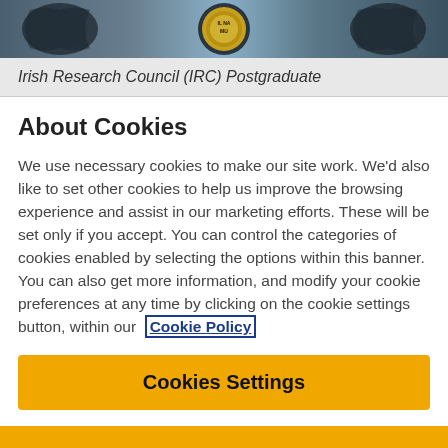[Figure (photo): Decorative header image showing an ornate metal crest/seal with the text 'Irish Research Council' partially visible, with dark scrollwork and a golden medallion center on a blue-grey metallic background.]
Irish Research Council (IRC) Postgraduate
About Cookies
We use necessary cookies to make our site work. We'd also like to set other cookies to help us improve the browsing experience and assist in our marketing efforts. These will be set only if you accept. You can control the categories of cookies enabled by selecting the options within this banner. You can also get more information, and modify your cookie preferences at any time by clicking on the cookie settings button, within our Cookie Policy
Cookies Settings